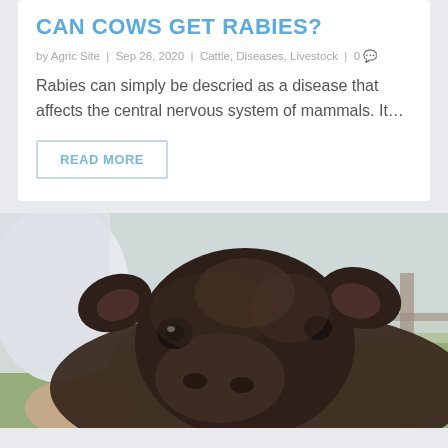CAN COWS GET RABIES?
by Agric Site | Sep 26, 2020 | Cattle, Diseases, Livestock | 0
Rabies can simply be descried as a disease that affects the central nervous system of mammals. It...
READ MORE
[Figure (photo): Close-up photo of a young black calf being held by a person, with a green field and fence post visible in the blurred background.]